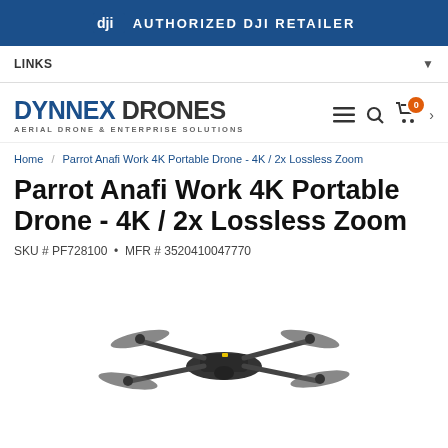AUTHORIZED DJI RETAILER
LINKS
[Figure (logo): Dynnex Drones logo — DYNNEX DRONES, AERIAL DRONE & ENTERPRISE SOLUTIONS]
Home / Parrot Anafi Work 4K Portable Drone - 4K / 2x Lossless Zoom
Parrot Anafi Work 4K Portable Drone - 4K / 2x Lossless Zoom
SKU # PF728100  •  MFR # 3520410047770
[Figure (photo): Parrot Anafi drone with four propellers, dark grey body, photographed from slightly above on white background]